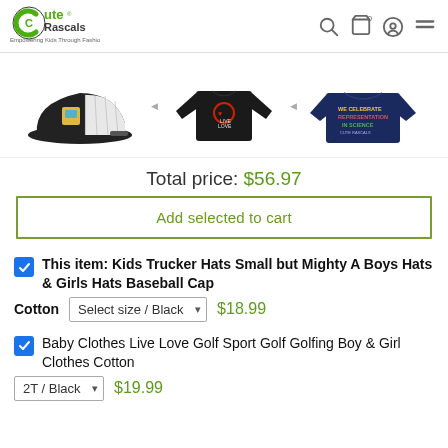Cute Rascals — Empowering Kids Through Fashion
[Figure (photo): Three product images: a black trucker hat with yellow/blue graphic, a black long-sleeve shirt with golf graphic, and a navy blue t-shirt with multicolor text]
Total price: $56.97
Add selected to cart
This item: Kids Trucker Hats Small but Mighty A Boys Hats & Girls Hats Baseball Cap Cotton  Select size / Black  $18.99
Baby Clothes Live Love Golf Sport Golf Golfing Boy & Girl Clothes Cotton  2T / Black  $19.99